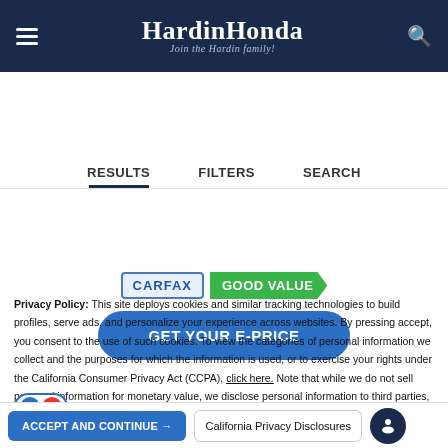HardinHonda — Join the Hardin family!
[Figure (screenshot): Navigation tabs: RESULTS, FILTERS, SEARCH with RESULTS underlined]
[Figure (screenshot): GOOD VALUE badge and GET YOUR E-PRICE button]
Privacy Policy: This site deploys cookies and similar tracking technologies to build profiles, serve ads, and personalize your experience across websites. By pressing accept, you consent to the use of such cookies. To view the categories of personal information we collect and the purposes for which the information is used, or to exercise your rights under the California Consumer Privacy Act (CCPA), click here. Note that while we do not sell personal information for monetary value, we disclose personal information to third parties, such as vehicle manufacturers, in such a way that may be considered a "sale" of personal information under the CCPA. To direct us to stop the sale of your personal information, or to re-access these settings or disclosures at anytime, click the following icon or link:
Do Not Sell My Personal Information
Language: English
Powered by ComplyAuto
ACCEPT AND CONTINUE →
California Privacy Disclosures